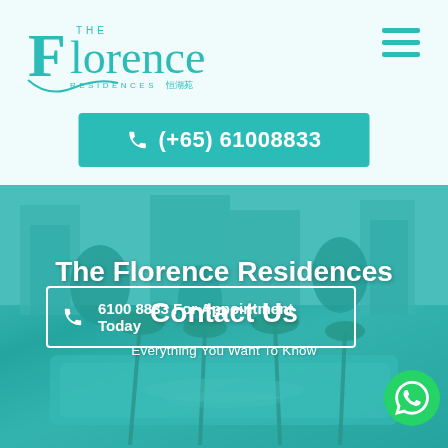[Figure (logo): The Florence Residences logo in teal color with Chinese characters]
☰ (hamburger menu icon)
(+65) 61008833
[Figure (photo): Aerial rendering of The Florence Residences condominium with pool and lush greenery, overlaid with teal color]
The Florence Residences
Contact Us
Everything You Want To Know
6100 8833 For Appointment Today